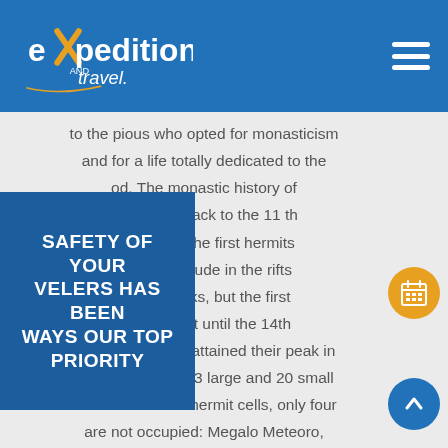expedition and travel
SAFETY OF YOUR TRAVELERS HAS BEEN ALWAYS OUR TOP PRIORITY
to the pious who opted for monasticism and for a life totally dedicated to the od. The monastic history of eora goes back to the 11 th A.D. when the first hermits ce and solitude in the rifts f these rocks, but the first ere not built until the 14th century A.D. and attained their peak in the 16th. Of the 13 large and 20 small monasteries and hermit cells, only four are not occupied: Megalo Meteoro, Monie Varlaam, Monia Aghias Triadas and Moni Aghiou Stefanou. Apart from